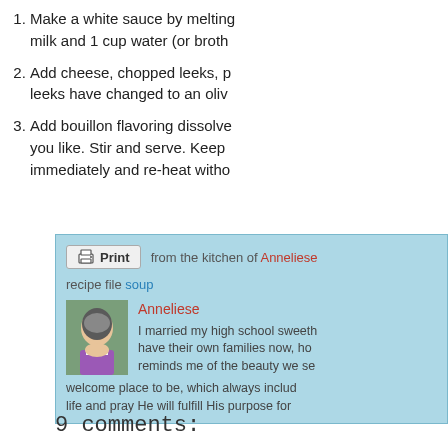1. Make a white sauce by melting... milk and 1 cup water (or broth
2. Add cheese, chopped leeks, p... leeks have changed to an oliv
3. Add bouillon flavoring dissolve... you like. Stir and serve. Keep immediately and re-heat witho
[Figure (photo): Profile photo of Anneliese, a woman with gray-streaked hair wearing a purple top]
from the kitchen of Anneliese
recipe file soup
Anneliese
I married my high school sweeth have their own families now, ho reminds me of the beauty we se welcome place to be, which always includ life and pray He will fulfill His purpose for
9 comments: